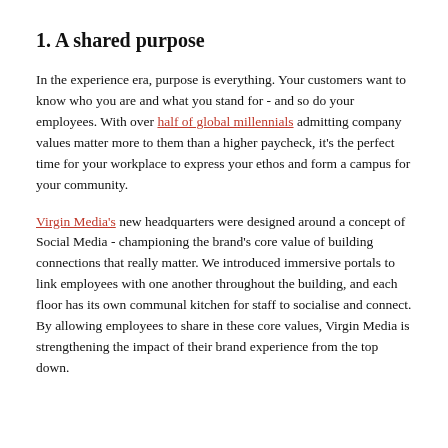1. A shared purpose
In the experience era, purpose is everything. Your customers want to know who you are and what you stand for - and so do your employees. With over half of global millennials admitting company values matter more to them than a higher paycheck, it's the perfect time for your workplace to express your ethos and form a campus for your community.
Virgin Media's new headquarters were designed around a concept of Social Media - championing the brand's core value of building connections that really matter. We introduced immersive portals to link employees with one another throughout the building, and each floor has its own communal kitchen for staff to socialise and connect. By allowing employees to share in these core values, Virgin Media is strengthening the impact of their brand experience from the top down.